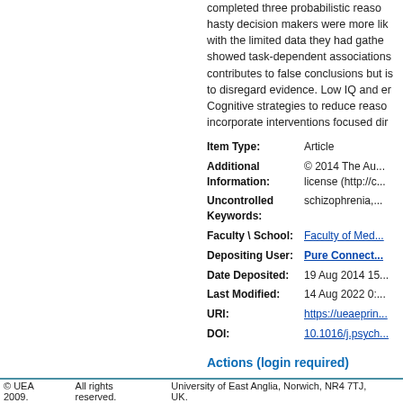completed three probabilistic reasoning tasks. hasty decision makers were more likely to jump with the limited data they had gathered and showed task-dependent associations... contributes to false conclusions but is linked to disregard evidence. Low IQ and er... Cognitive strategies to reduce reasoning... incorporate interventions focused dir...
| Field | Value |
| --- | --- |
| Item Type: | Article |
| Additional Information: | © 2014 The Au... license (http://c... |
| Uncontrolled Keywords: | schizophrenia,... |
| Faculty \ School: | Faculty of Med... |
| Depositing User: | Pure Connect... |
| Date Deposited: | 19 Aug 2014 15... |
| Last Modified: | 14 Aug 2022 0:... |
| URI: | https://ueaeprin... |
| DOI: | 10.1016/j.psych... |
Actions (login required)
© UEA 2009.    All rights reserved.    University of East Anglia, Norwich, NR4 7TJ, UK.